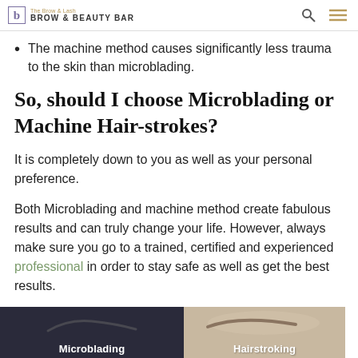Brow & Beauty Bar
The machine method causes significantly less trauma to the skin than microblading.
So, should I choose Microblading or Machine Hair-strokes?
It is completely down to you as well as your personal preference.
Both Microblading and machine method create fabulous results and can truly change your life. However, always make sure you go to a trained, certified and experienced professional in order to stay safe as well as get the best results.
[Figure (photo): Two side-by-side images labeled 'Microblading' on the left (dark background) and partially visible label on the right (light skin-tone background)]